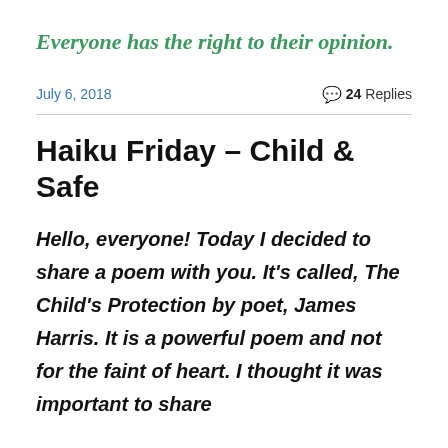Everyone has the right to their opinion.
July 6, 2018
💬 24 Replies
Haiku Friday – Child & Safe
Hello, everyone! Today I decided to share a poem with you. It's called, The Child's Protection by poet, James Harris. It is a powerful poem and not for the faint of heart. I thought it was important to share